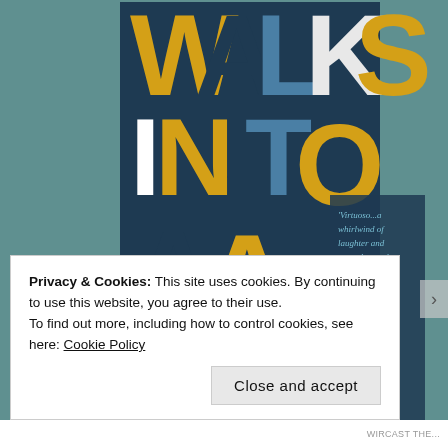[Figure (illustration): Book cover for 'Walks Into A Bar' showing large bold letters in dark navy, yellow/gold, and steel blue forming the words WALKS INTO A BAR. A silhouette figure of a person standing is visible. A quote reads: 'Virtuoso...a whirlwind of laughter and tears that sucks you in and makes you hold your breath' DAILY MAIL. Bottom left has a Winner badge (The Man Booker). Background is teal/sage green.]
Privacy & Cookies: This site uses cookies. By continuing to use this website, you agree to their use.
To find out more, including how to control cookies, see here: Cookie Policy
Close and accept
WIRCAST THE...